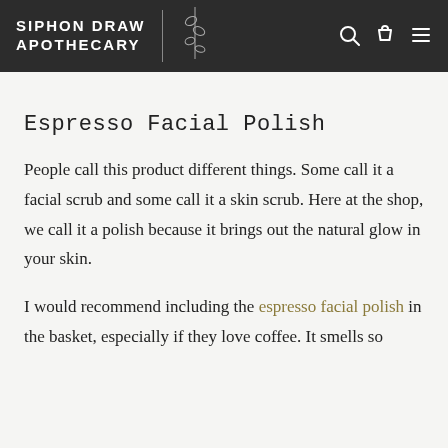SIPHON DRAW APOTHECARY
Espresso Facial Polish
People call this product different things. Some call it a facial scrub and some call it a skin scrub. Here at the shop, we call it a polish because it brings out the natural glow in your skin.
I would recommend including the espresso facial polish in the basket, especially if they love coffee. It smells so